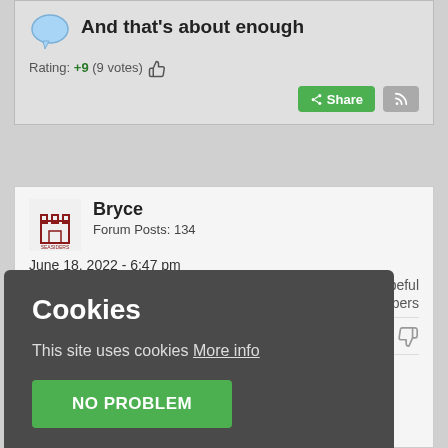And that's about enough
Rating: +9 (9 votes)
Share
Bryce
Forum Posts: 134
June 18, 2022 - 6:47 pm
Reserve Team Hopeful
Members
+1
Cookies
This site uses cookies More info
NO PROBLEM
very stressful. So I think this last turn has been my last proper turn.